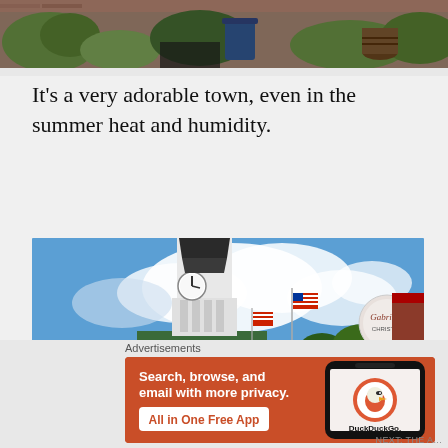[Figure (photo): Partial top photo showing garden area with bricks, greenery, and planters]
It's a very adorable town, even in the summer heat and humidity.
[Figure (photo): Courthouse with white clock tower, American flags, blue sky with clouds, and street sign for Gabriel's restaurant on right]
Advertisements
[Figure (screenshot): DuckDuckGo advertisement: Search, browse, and email with more privacy. All in One Free App. Shows phone with DuckDuckGo app.]
NEXT: THE A...